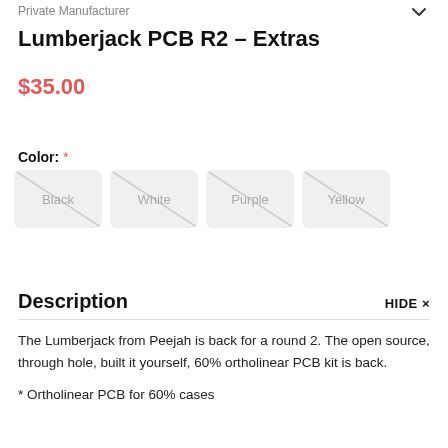Private Manufacturer
Lumberjack PCB R2 - Extras
$35.00
Color: *
Black | White | Purple | Yellow
Description
The Lumberjack from Peejah is back for a round 2. The open source, through hole, built it yourself, 60% ortholinear PCB kit is back.
* Ortholinear PCB for 60% cases